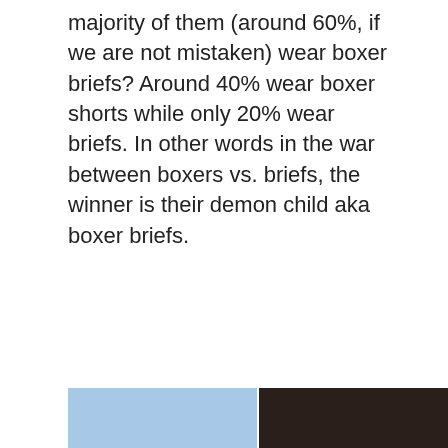majority of them (around 60%, if we are not mistaken) wear boxer briefs? Around 40% wear boxer shorts while only 20% wear briefs. In other words in the war between boxers vs. briefs, the winner is their demon child aka boxer briefs.
[Figure (photo): Two partial images side by side at the bottom of the page: left image shows light blue fabric (likely boxer briefs), right image shows dark brown/black fabric.]